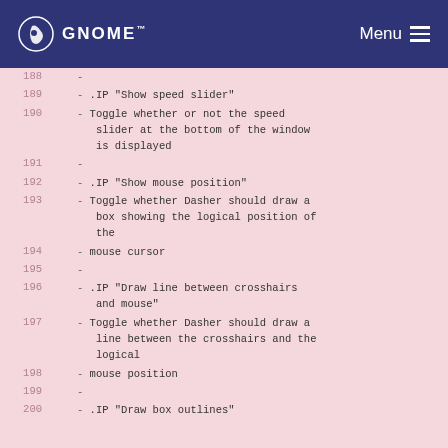GNOME  Menu
188
189  - .IP "Show speed slider"
190  - Toggle whether or not the speed slider at the bottom of the window is displayed
191
192  - .IP "Show mouse position"
193  - Toggle whether Dasher should draw a box showing the logical position of the
194  - mouse cursor
195
196  - .IP "Draw line between crosshairs and mouse"
197  - Toggle whether Dasher should draw a line between the crosshairs and the logical
198  - mouse position
199
200  - .IP "Draw box outlines"